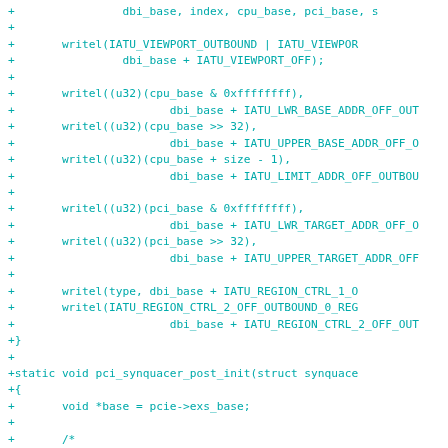[Figure (screenshot): Source code diff showing C code additions for PCIe iATU viewport configuration and pci_synquacer_post_init function, displayed in teal/cyan monospace font on white background]